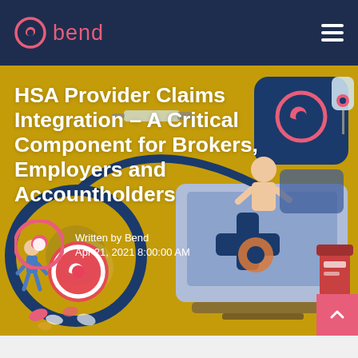bend
HSA Provider Claims Integration – A Critical Component for Brokers, Employers and Accountholders
Written by Bend
Apr 21, 2021 8:00:00 AM
[Figure (illustration): Healthcare illustration showing medical icons, a stethoscope, laptop with medical cross symbol, medicine bottles and pills on a golden/yellow background. Bend logo icon visible in upper right on blue background.]